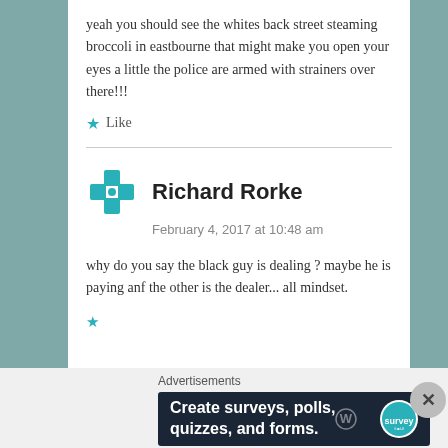yeah you should see the whites back street steaming broccoli in eastbourne that might make you open your eyes a little the police are armed with strainers over there!!!
Like
Richard Rorke
February 4, 2017 at 10:48 am
why do you say the black guy is dealing ? maybe he is paying anf the other is the dealer... all mindset.
Advertisements
Create surveys, polls, quizzes, and forms.